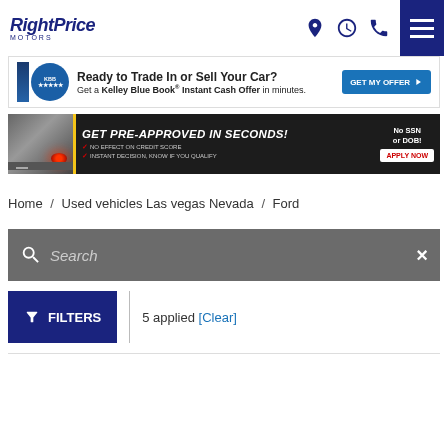[Figure (logo): RightPrice Motors logo in dark blue italic font]
[Figure (infographic): Kelley Blue Book Trade-In banner: Ready to Trade In or Sell Your Car? Get a Kelley Blue Book Instant Cash Offer in minutes. GET MY OFFER button.]
[Figure (infographic): GET PRE-APPROVED IN SECONDS! No SSN or DOB! No effect on credit score. Instant decision, know if you qualify. APPLY NOW button.]
Home / Used vehicles Las vegas Nevada / Ford
Search
FILTERS  5 applied [Clear]